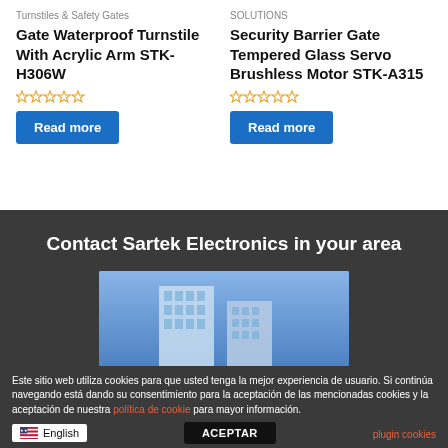Turnstiles & Safety Gates
Gate Waterproof Turnstile With Acrylic Arm STK-H306W
☆☆☆☆☆
Read more
SOLUTIONS
Security Barrier Gate Tempered Glass Servo Brushless Motor STK-A315
☆☆☆☆☆
Read more
Contact Sartek Electronics in your area
[Figure (photo): Photo of glass office buildings at night with blue sky background]
Este sitio web utiliza cookies para que usted tenga la mejor experiencia de usuario. Si continúa navegando está dando su consentimiento para la aceptación de las mencionadas cookies y la aceptación de nuestra política de cookie para mayor información.
plugin cookies
English
ACEPTAR